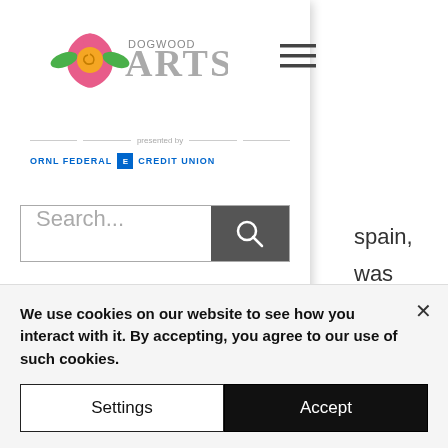[Figure (logo): Dogwood Arts logo with pink flower and text 'DOGWOOD ARTS', with 'presented by' line and ORNL Federal Credit Union branding below]
[Figure (other): Hamburger menu icon (three horizontal lines)]
spain, was w you
[Figure (other): Search input bar with placeholder text 'Search...' and a dark search icon button]
buy clenbuterol sopharma bulgaria, buy clenbuterol syrup, buy clenbuterol spray, So she called it in a soft, kind voice, "Mouse dear! Do..daring to move. His fall had
We use cookies on our website to see how you interact with it. By accepting, you agree to our use of such cookies.
Settings
Accept